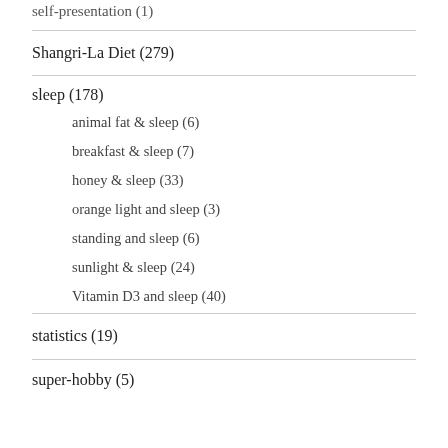self-presentation (1)
Shangri-La Diet (279)
sleep (178)
animal fat & sleep (6)
breakfast & sleep (7)
honey & sleep (33)
orange light and sleep (3)
standing and sleep (6)
sunlight & sleep (24)
Vitamin D3 and sleep (40)
statistics (19)
super-hobby (5)